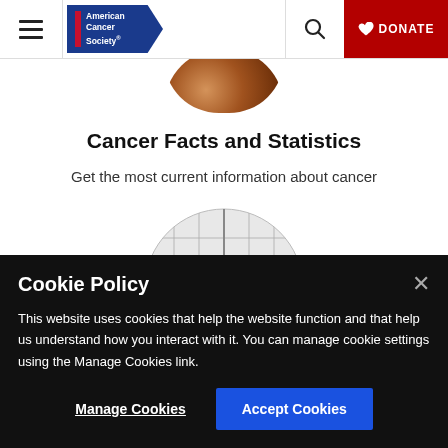American Cancer Society | Search | DONATE
[Figure (photo): Circular cropped photo of a wooden bowl, partially visible at top]
Cancer Facts and Statistics
Get the most current information about cancer
[Figure (photo): Circular cropped image with grid lines, partially visible at bottom]
Cookie Policy
This website uses cookies that help the website function and that help us understand how you interact with it. You can manage cookie settings using the Manage Cookies link.
Manage Cookies | Accept Cookies